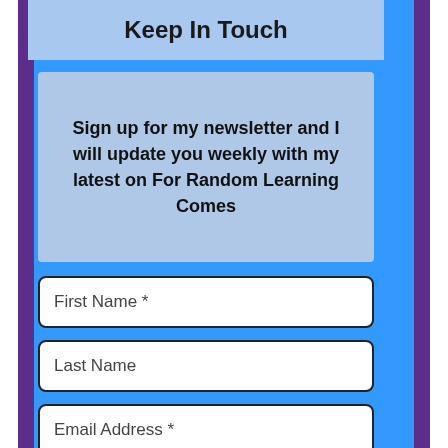Keep In Touch
Sign up for my newsletter and I will update you weekly with my latest on For Random Learning Comes
First Name *
Last Name
Email Address *
Sign me up!